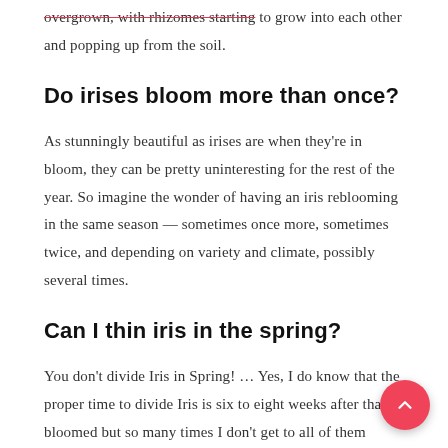overgrown, with rhizomes starting to grow into each other and popping up from the soil.
Do irises bloom more than once?
As stunningly beautiful as irises are when they're in bloom, they can be pretty uninteresting for the rest of the year. So imagine the wonder of having an iris reblooming in the same season — sometimes once more, sometimes twice, and depending on variety and climate, possibly several times.
Can I thin iris in the spring?
You don't divide Iris in Spring! … Yes, I do know that the proper time to divide Iris is six to eight weeks after the have bloomed but so many times I don't get to all of them